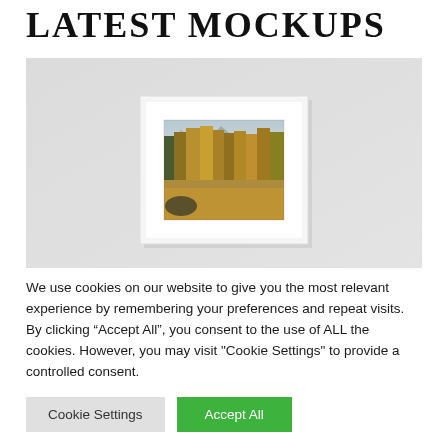LATEST MOCKUPS
[Figure (photo): A framed landscape photograph of an autumn forest with yellow-orange larch trees and mountains, hanging on a gray wall — product mockup for art print display]
We use cookies on our website to give you the most relevant experience by remembering your preferences and repeat visits. By clicking “Accept All”, you consent to the use of ALL the cookies. However, you may visit "Cookie Settings" to provide a controlled consent.
Cookie Settings
Accept All